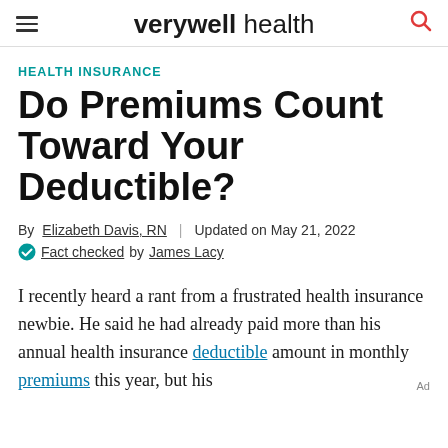verywell health
HEALTH INSURANCE
Do Premiums Count Toward Your Deductible?
By Elizabeth Davis, RN | Updated on May 21, 2022
Fact checked by James Lacy
I recently heard a rant from a frustrated health insurance newbie. He said he had already paid more than his annual health insurance deductible amount in monthly premiums this year, but his